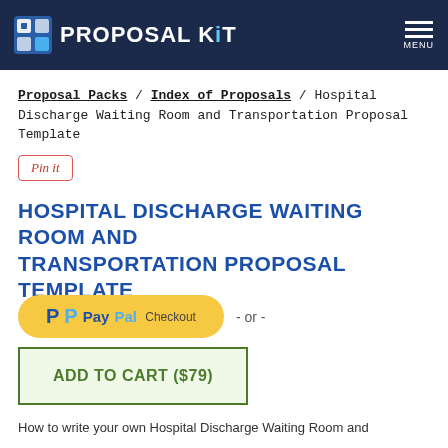Proposal Kit
Proposal Packs / Index of Proposals / Hospital Discharge Waiting Room and Transportation Proposal Template
[Figure (other): Pin it button]
HOSPITAL DISCHARGE WAITING ROOM AND TRANSPORTATION PROPOSAL TEMPLATE
[Figure (other): PayPal Checkout button with - or - text]
[Figure (other): ADD TO CART ($79) button]
How to write your own Hospital Discharge Waiting Room and